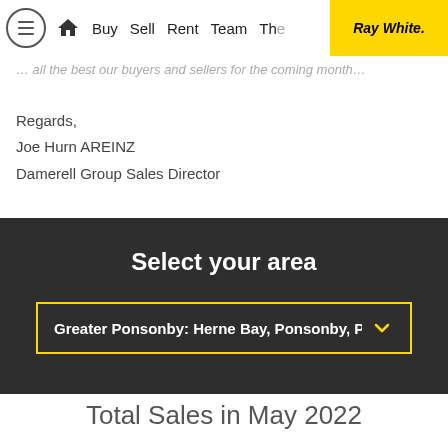Buy  Sell  Rent  Team  The  Ray White.
… all the best our buyers and sellers for the coming month…
Regards,
Joe Hurn AREINZ
Damerell Group Sales Director
Select your area
Greater Ponsonby: Herne Bay, Ponsonby, P
Total Sales in May 2022